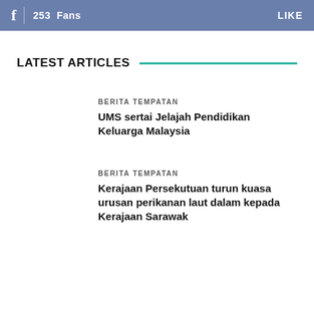f  253  Fans  LIKE
LATEST ARTICLES
BERITA TEMPATAN
UMS sertai Jelajah Pendidikan Keluarga Malaysia
BERITA TEMPATAN
Kerajaan Persekutuan turun kuasa urusan perikanan laut dalam kepada Kerajaan Sarawak